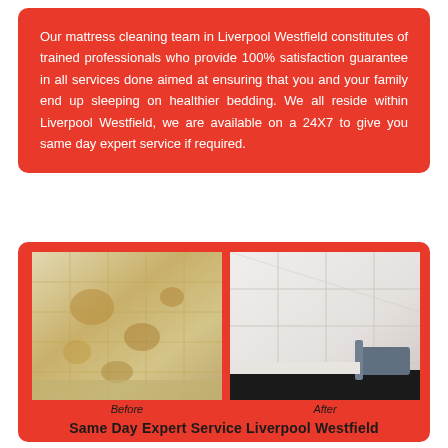Our mattress cleaning team in Liverpool Westfield constitutes of trained professionals who provide 100% satisfaction guarantee in all services done aimed at ensuring that you and your family end up sleeping on healthier bedding. We all reside within Liverpool Westfield, we are available on a 24X7 to give you same day expert service if required.
[Figure (photo): Before and after photos of a mattress cleaning service. Left photo shows a stained, dirty mattress labeled 'Before'. Right photo shows a clean white mattress labeled 'After'.]
Same Day Expert Service Liverpool Westfield